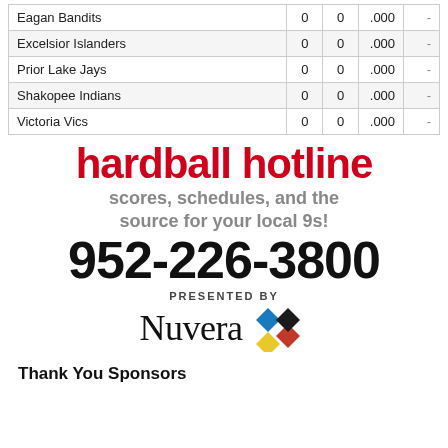| Team |  |  |  |  |
| --- | --- | --- | --- | --- |
| Eagan Bandits | 0 | 0 | .000 | - |
| Excelsior Islanders | 0 | 0 | .000 | - |
| Prior Lake Jays | 0 | 0 | .000 | - |
| Shakopee Indians | 0 | 0 | .000 | - |
| Victoria Vics | 0 | 0 | .000 | - |
[Figure (other): Hardball Hotline advertisement: 'hardball hotline — scores, schedules, and the source for your local 9s! 952-226-3800 — presented by Nuvera']
Thank You Sponsors